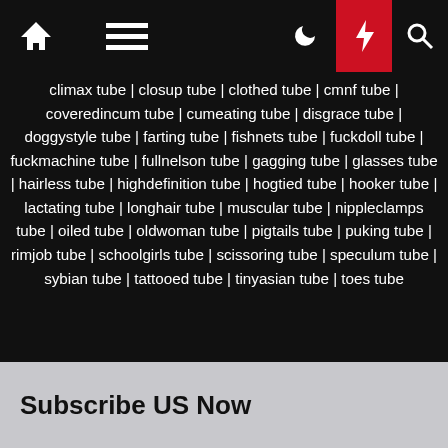Navigation bar with home, menu, moon, bolt, search icons
climax tube | closup tube | clothed tube | cmnf tube | coveredincum tube | cumeating tube | disgrace tube | doggystyle tube | farting tube | fishnets tube | fuckdoll tube | fuckmachine tube | fullnelson tube | gagging tube | glasses tube | hairless tube | highdefinition tube | hogtied tube | hooker tube | lactating tube | longhair tube | muscular tube | nippleclamps tube | oiled tube | oldwoman tube | pigtails tube | puking tube | rimjob tube | schoolgirls tube | scissoring tube | speculum tube | sybian tube | tattooed tube | tinyasian tube | toes tube
Subscribe US Now